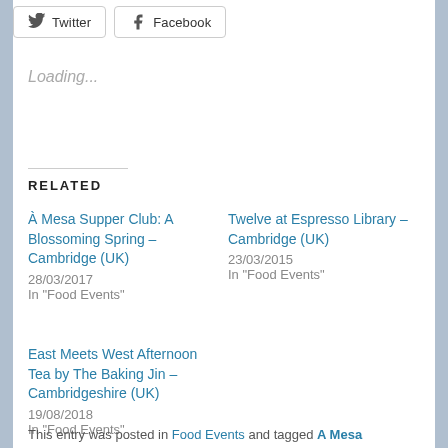[Figure (other): Twitter and Facebook share buttons at top of page]
Loading...
RELATED
À Mesa Supper Club: A Blossoming Spring – Cambridge (UK)
28/03/2017
In "Food Events"
Twelve at Espresso Library – Cambridge (UK)
23/03/2015
In "Food Events"
East Meets West Afternoon Tea by The Baking Jin – Cambridgeshire (UK)
19/08/2018
In "Food Events"
This entry was posted in Food Events and tagged A Mesa